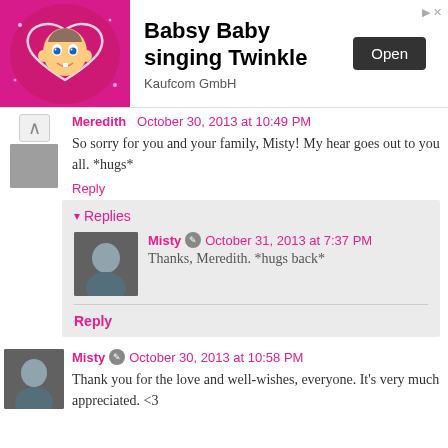[Figure (screenshot): Ad banner for 'Babsy Baby singing Twinkle' by Kaufcom GmbH with Open button]
Meredith  October 30, 2013 at 10:49 PM
So sorry for you and your family, Misty! My hear goes out to you all. *hugs*
Reply
Replies
Misty  October 31, 2013 at 7:37 PM
Thanks, Meredith. *hugs back*
Reply
Misty  October 30, 2013 at 10:58 PM
Thank you for the love and well-wishes, everyone. It's very much appreciated. <3